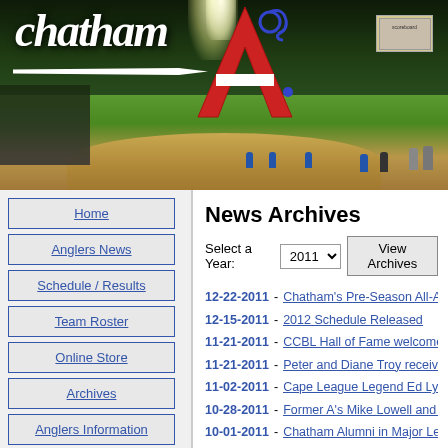[Figure (photo): Chatham A's baseball team banner/header image showing a baseball field at night with the Chatham cursive logo and the A's logo (red letter A with fish hook)]
Home
Anglers News
Schedule / Results
Team Roster
Online Store
Archives
Anglers Information
News Archives
Select a Year: 2011 View Archives
12-22-2011 - Chatham's Pre-Season All-American...
12-15-2011 - 2012 Schedule Released
11-21-2011 - CCBL Hall of Fame welcomes 12th c...
11-21-2011 - Peter and Diane Troy receive Fred B...
11-02-2011 - Cape League Legend Ed Lyons Rem...
10-28-2011 - Former A's Mike Lowell and David B...
10-01-2011 - Chatham Alumni in Major League Pl...
09-30-2011 - Anglers Place Run to Wild Car...